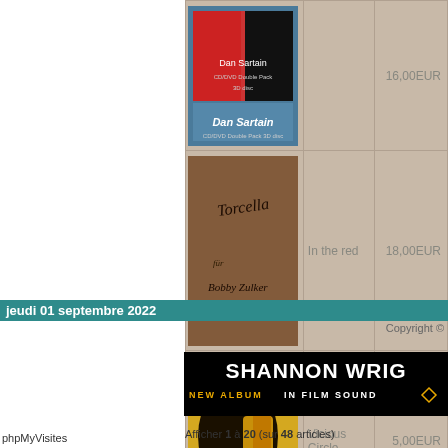| Image | Label | Price |
| --- | --- | --- |
| [Dan Sartain CD/DVD image] |  | 16,00EUR |
| [Torcella image] | In the red | 18,00EUR |
| [Beche Sans Face image] | Vicious Circle | 5,00EUR |
Afficher 1 à 20 (sur 48 articles)
jeudi 01 septembre 2022
Copyright ©
[Figure (photo): Shannon Wright - New Album In Film Sound promotional banner, black background with white and orange text]
phpMyVisites